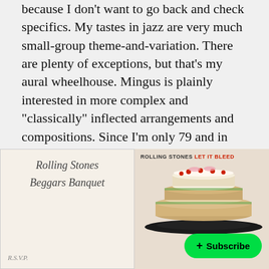because I don't want to go back and check specifics. My tastes in jazz are very much small-group theme-and-variation. There are plenty of exceptions, but that's my aural wheelhouse. Mingus is plainly interested in more complex and "classically" inflected arrangements and compositions. Since I'm only 79 and in good health, I may yet develop a taste for such sounds. So far, no. As I always say about others and can therefore also say about myself: I like what I like.
[Figure (illustration): Album cover for Rolling Stones Beggars Banquet - cream/ivory background with script text 'Rolling Stones Beggars Banquet' in cursive font, resembling a formal invitation card. RSVP text at bottom.]
[Figure (photo): Album cover for Rolling Stones Let It Bleed - shows a tiered cake decorated with toy figures and cherries on top, stacked on a record. Header text reads 'ROLLING STONES LET IT BLEED'. A green Subscribe button overlays the bottom right.]